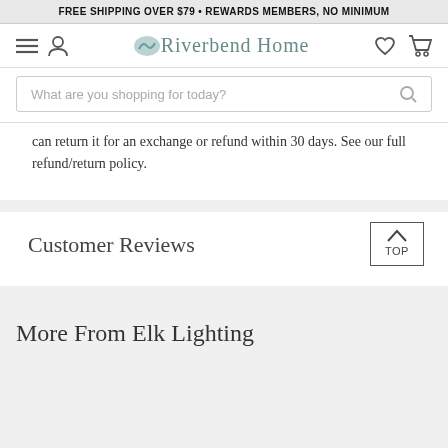FREE SHIPPING OVER $79 • REWARDS MEMBERS, NO MINIMUM
[Figure (logo): Riverbend Home logo with navigation icons (hamburger menu, user icon, heart, cart)]
What are you shopping for today?
can return it for an exchange or refund within 30 days. See our full refund/return policy.
Customer Reviews
More From Elk Lighting